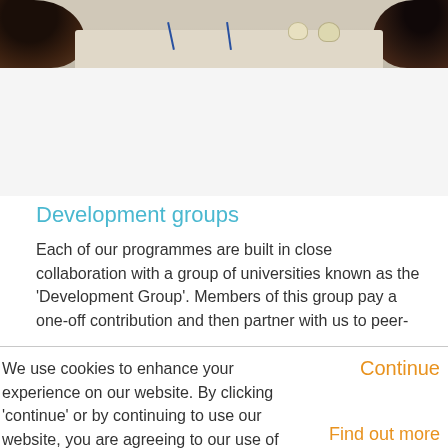[Figure (photo): Overhead/partial view of people sitting around a table, showing tops of heads and table surface with cups and pens]
Development groups
Each of our programmes are built in close collaboration with a group of universities known as the 'Development Group'. Members of this group pay a one-off contribution and then partner with us to peer-
We use cookies to enhance your experience on our website. By clicking 'continue' or by continuing to use our website, you are agreeing to our use of cookies. You can change your cookie settings at any time.
Continue
Find out more